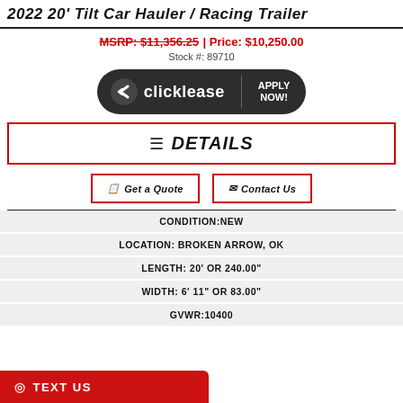2022 20' Tilt Car Hauler / Racing Trailer
MSRP: $11,356.25 | Price: $10,250.00
Stock #: 89710
[Figure (logo): Clicklease APPLY NOW! badge on dark rounded background]
☰ DETAILS
Get a Quote
Contact Us
| CONDITION:NEW |
| LOCATION: BROKEN ARROW, OK |
| LENGTH: 20' OR 240.00" |
| WIDTH: 6' 11" OR 83.00" |
| GVWR:10400 |
TEXT US